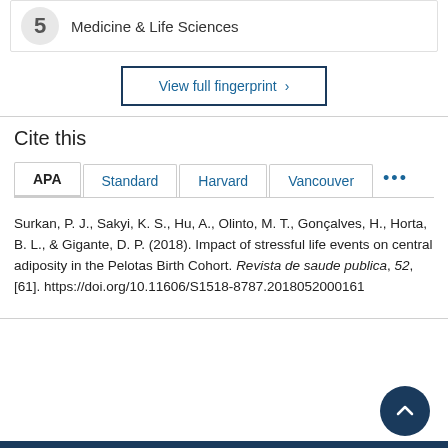Medicine & Life Sciences
View full fingerprint ›
Cite this
APA | Standard | Harvard | Vancouver | ...
Surkan, P. J., Sakyi, K. S., Hu, A., Olinto, M. T., Gonçalves, H., Horta, B. L., & Gigante, D. P. (2018). Impact of stressful life events on central adiposity in the Pelotas Birth Cohort. Revista de saude publica, 52, [61]. https://doi.org/10.11606/S1518-8787.2018052000161